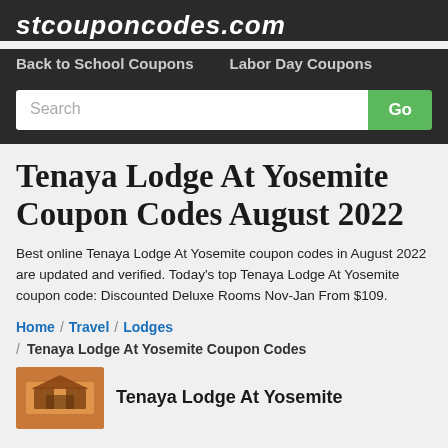stcouponcodes.com
Back to School Coupons   Labor Day Coupons
Tenaya Lodge At Yosemite Coupon Codes August 2022
Best online Tenaya Lodge At Yosemite coupon codes in August 2022 are updated and verified. Today's top Tenaya Lodge At Yosemite coupon code: Discounted Deluxe Rooms Nov-Jan From $109.
Home / Travel / Lodges / Tenaya Lodge At Yosemite Coupon Codes
Tenaya Lodge At Yosemite